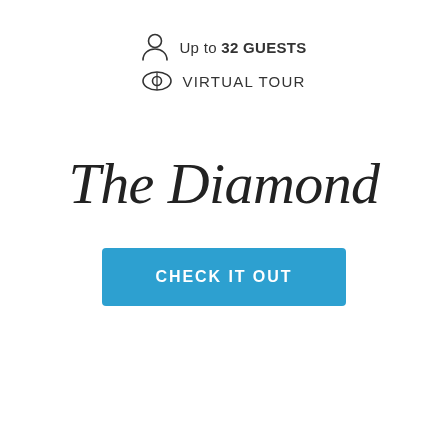Up to 32 GUESTS
VIRTUAL TOUR
The Diamond
CHECK IT OUT